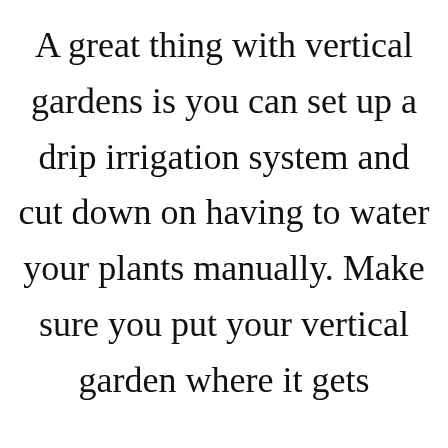A great thing with vertical gardens is you can set up a drip irrigation system and cut down on having to water your plants manually. Make sure you put your vertical garden where it gets